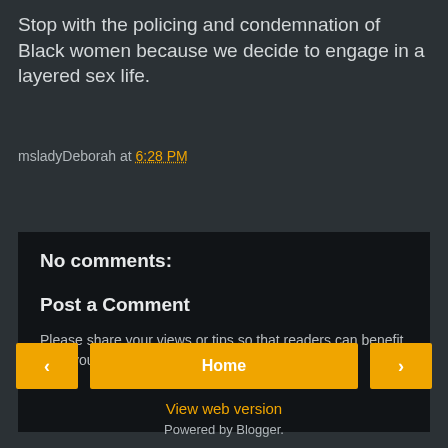Stop with the policing and condemnation of Black women because we decide to engage in a layered sex life.
msladyDeborah at 6:28 PM
Share
No comments:
Post a Comment
Please share your views or tips so that readers can benefit from your perspective.
Home
View web version
Powered by Blogger.